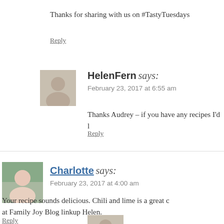Thanks for sharing with us on #TastyTuesdays
Reply
HelenFern says:
February 23, 2017 at 6:55 am
Thanks Audrey – if you have any recipes I'd l…
Reply
Charlotte says:
February 23, 2017 at 4:00 am
Your recipe sounds delicious. Chili and lime is a great c… at Family Joy Blog linkup Helen.
Reply
HelenFern says: